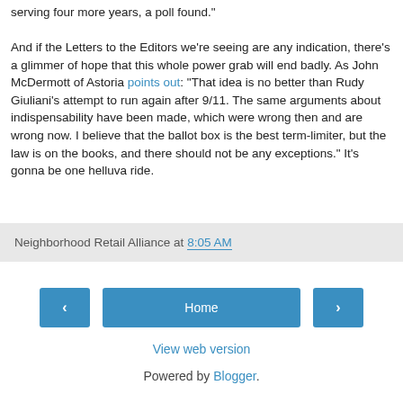serving four more years, a poll found."

And if the Letters to the Editors we're seeing are any indication, there's a glimmer of hope that this whole power grab will end badly. As John McDermott of Astoria points out: "That idea is no better than Rudy Giuliani's attempt to run again after 9/11. The same arguments about indispensability have been made, which were wrong then and are wrong now. I believe that the ballot box is the best term-limiter, but the law is on the books, and there should not be any exceptions." It's gonna be one helluva ride.
Neighborhood Retail Alliance at 8:05 AM
Home
View web version
Powered by Blogger.